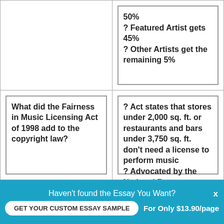50%
? Featured Artist gets 45%
? Other Artists get the remaining 5%
What did the Fairness in Music Licensing Act of 1998 add to the copyright law?
? Act states that stores under 2,000 sq. ft. or restaurants and bars under 3,750 sq. ft. don't need a license to perform music
? Advocated by the National Restaurant Association. WTO was
Haven't found the Essay You Want?
GET YOUR CUSTOM ESSAY SAMPLE
For Only $13.90/page
x